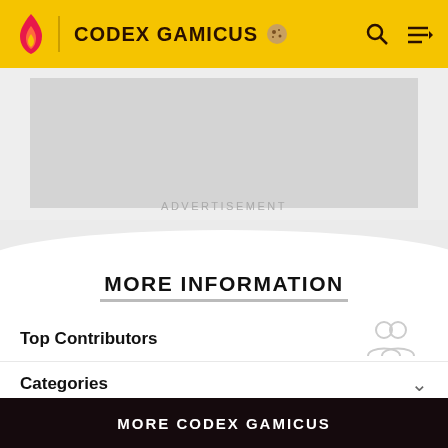CODEX GAMICUS
[Figure (screenshot): Advertisement placeholder area with grey background]
ADVERTISEMENT
MORE INFORMATION
Top Contributors
Categories
Community content is available under CC BY-SA 3.0 unless otherwise noted.
MORE CODEX GAMICUS